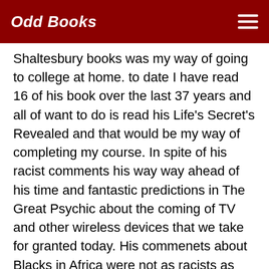Odd Books
Shaltesbury books was my way of going to college at home. to date I have read 16 of his book over the last 37 years and all of want to do is read his Life's Secret's Revealed and that would be my way of completing my course. In spite of his racist comments his way way ahead of his time and fantastic predictions in The Great Psychic about the coming of TV and other wireless devices that we take for granted today. His commenets about Blacks in Africa were not as racists as what he taught in his Yourself Behind Closed Doors and some parts of his Brain Tests. His commenets i Brain Tests about the white race coming out of the grround when the time is right because there was no way the white man could be the child of the Negro. But now we know because of the discovery of "Lucy" in East Africa and